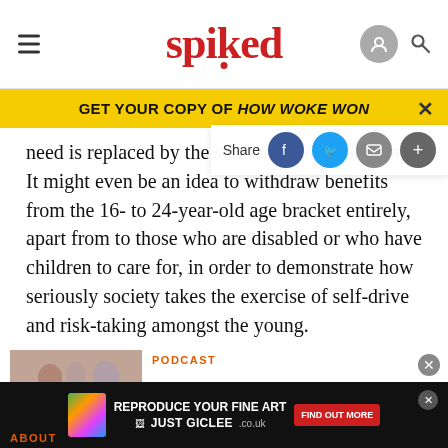spiked
GET YOUR COPY OF HOW WOKE WON
need is replaced by the soul-zapping state's largesse. It might even be an idea to withdraw benefits from the 16- to 24-year-old age bracket entirely, apart from to those who are disabled or who have children to care for, in order to demonstrate how seriously society takes the exercise of self-drive and risk-taking amongst the young.
PODCAST
[Figure (photo): Podcast thumbnail showing people in a studio setting]
[Figure (screenshot): Advertisement banner: REPRODUCE YOUR FINE ART - JUST GICLEE.co.uk - FIND OUT MORE]